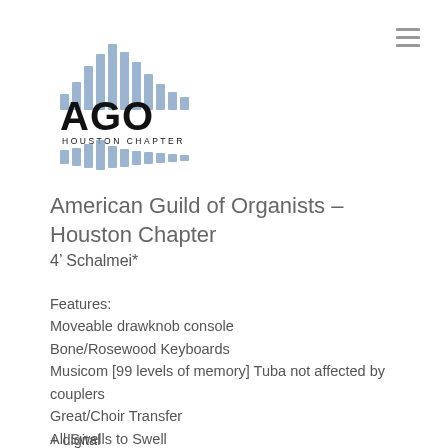[Figure (logo): AGO Houston Chapter logo — stylized organ pipe bar chart above and below the text 'AGO HOUSTON CHAPTER']
American Guild of Organists – Houston Chapter
4’ Schalmei*
Features:
Moveable drawknob console
Bone/Rosewood Keyboards
Musicom [99 levels of memory] Tuba not affected by couplers
Great/Choir Transfer
All Swells to Swell
MIDI
Great 8’ Cornet V preparation
+ digital